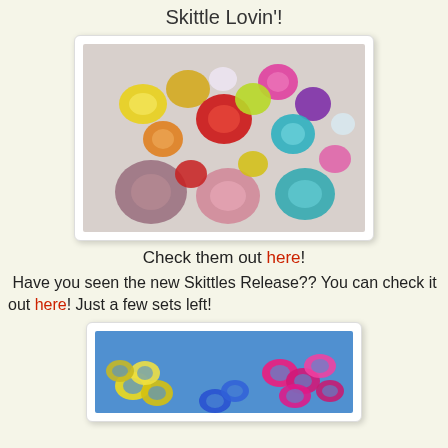Skittle Lovin'!
[Figure (photo): Colorful glass skittle beads piled together in various colors including red, pink, purple, yellow, green, blue, and clear]
Check them out here!
Have you seen the new Skittles Release?? You can check it out here! Just a few sets left!
[Figure (photo): Colorful ring-shaped skittle beads on a blue background, including yellow and hot pink]